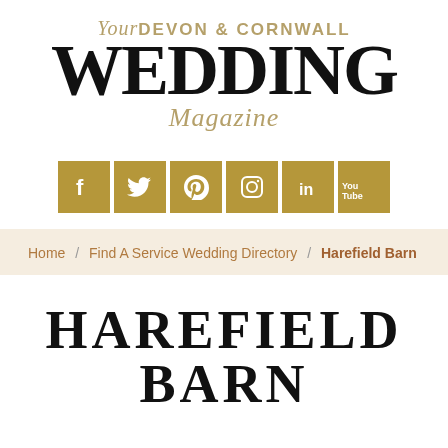[Figure (logo): Your Devon & Cornwall Wedding Magazine logo with script 'Your', bold 'DEVON & CORNWALL', large 'WEDDING', and italic 'Magazine' in gold and black]
[Figure (infographic): Row of 6 social media icons (Facebook, Twitter, Pinterest, Instagram, LinkedIn, YouTube) in gold/tan square buttons]
Home / Find A Service Wedding Directory / Harefield Barn
HAREFIELD BARN